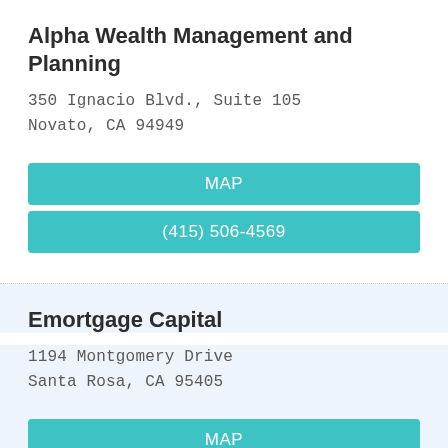Alpha Wealth Management and Planning
350 Ignacio Blvd., Suite 105
Novato, CA 94949
MAP
(415) 506-4569
Emortgage Capital
1194 Montgomery Drive
Santa Rosa, CA 95405
MAP
(707) 752-7979